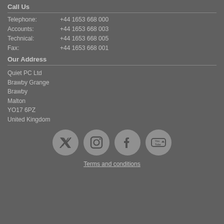Call Us
Telephone: +44 1653 668 000
Accounts: +44 1653 668 003
Technical: +44 1653 668 005
Fax: +44 1653 668 001
Our Address
Quiet PC Ltd
Brawby Grange
Brawby
Malton
YO17 6PZ
United Kingdom
[Figure (logo): Social media icons: Twitter, Instagram, Facebook, YouTube]
Terms and conditions